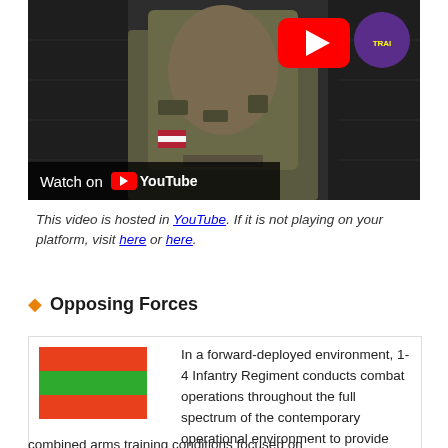[Figure (screenshot): YouTube video thumbnail showing a soldier in camouflage uniform with YouTube play button overlay and 'Watch on YouTube' bar at bottom]
This video is hosted in YouTube. If it is not playing on your platform, visit here or here.
Opposing Forces
[Figure (illustration): Flag with red-green-red horizontal stripes beside descriptive text about 1-4 Infantry Regiment]
In a forward-deployed environment, 1-4 Infantry Regiment conducts combat operations throughout the full spectrum of the contemporary operational environment to provide realistic joint and combined arms training conditions focused on